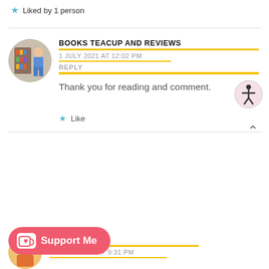★ Liked by 1 person
BOOKS TEACUP AND REVIEWS
1 JULY 2021 AT 12:02 PM
REPLY
Thank you for reading and comment.
★ Like
[Figure (logo): Support Me button with Ko-fi cup icon]
Y WORLD
30 JUNE 2021 AT 9:31 PM